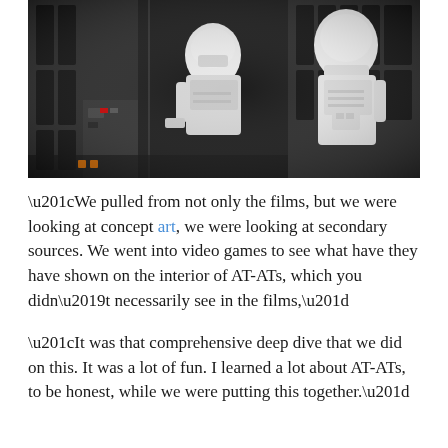[Figure (photo): Close-up photo of two white LEGO Snowtrooper minifigures set against a dark background featuring black and white architectural/mechanical panels resembling an Imperial Star Wars interior.]
“We pulled from not only the films, but we were looking at concept art, we were looking at secondary sources. We went into video games to see what have they have shown on the interior of AT-ATs, which you didn’t necessarily see in the films,”
“It was that comprehensive deep dive that we did on this. It was a lot of fun. I learned a lot about AT-ATs, to be honest, while we were putting this together.”